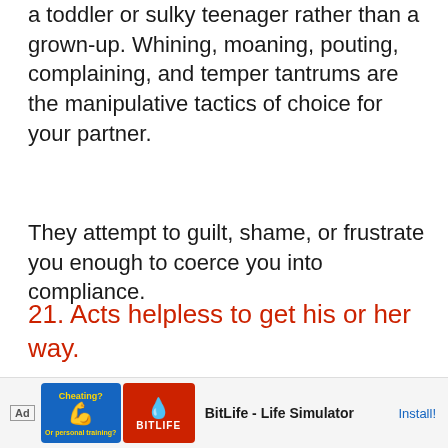a toddler or sulky teenager rather than a grown-up. Whining, moaning, pouting, complaining, and temper tantrums are the manipulative tactics of choice for your partner.
They attempt to guilt, shame, or frustrate you enough to coerce you into compliance.
21. Acts helpless to get his or her way.
“I just can’t cook as well as you do. You nee… di…
[Figure (screenshot): Ad banner at bottom: BitLife - Life Simulator advertisement with blue box showing arm emoji, red box showing BitLife logo, app title, and Install button]